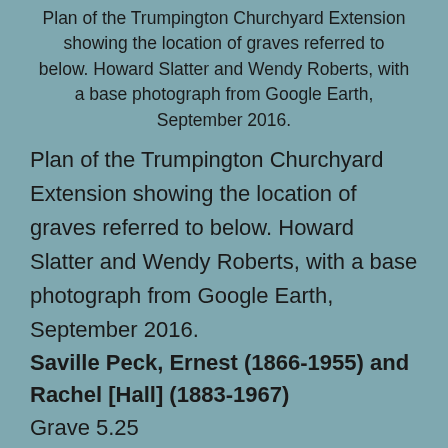Plan of the Trumpington Churchyard Extension showing the location of graves referred to below. Howard Slatter and Wendy Roberts, with a base photograph from Google Earth, September 2016.
Plan of the Trumpington Churchyard Extension showing the location of graves referred to below. Howard Slatter and Wendy Roberts, with a base photograph from Google Earth, September 2016.
Saville Peck, Ernest (1866-1955) and Rachel [Hall] (1883-1967)
Grave 5.25
Ernest Saville Peck was born in 1866 in Cambridge, and his wife Rachel Brenda Hall in